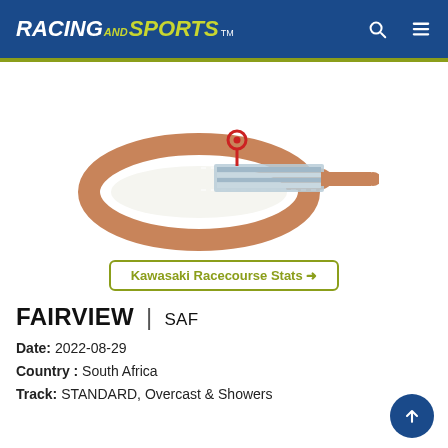RACING AND SPORTS
[Figure (illustration): Aerial 3D illustration of a horse racing track (Kawasaki Racecourse) showing an oval dirt track with a grandstand/straight on the right side and a red location pin marker on the track.]
Kawasaki Racecourse Stats →
FAIRVIEW | SAF
Date: 2022-08-29
Country : South Africa
Track: STANDARD, Overcast & Showers